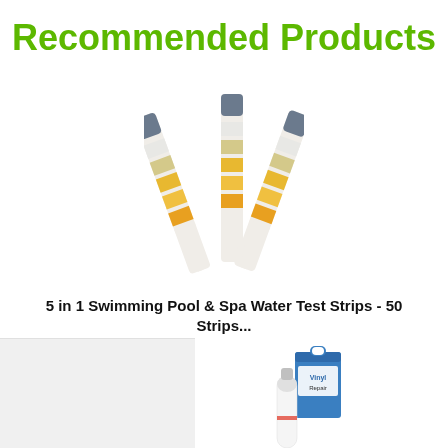Recommended Products
[Figure (photo): Three pool/spa water test strips fanned out, showing colored indicator pads in blue, white and yellow/orange bands]
5 in 1 Swimming Pool & Spa Water Test Strips - 50 Strips...
$15.00
[Figure (photo): Partial view of a second product: white tube and blue box (Vinyl repair product) at bottom of page]